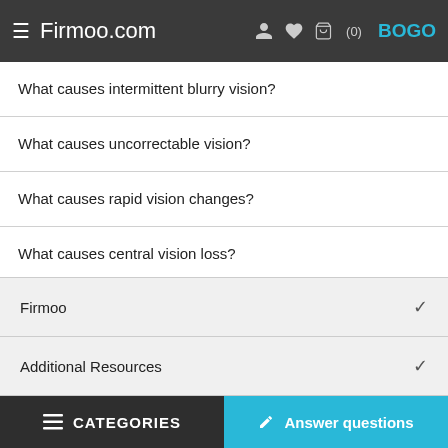Firmoo.com
What causes intermittent blurry vision?
What causes uncorrectable vision?
What causes rapid vision changes?
What causes central vision loss?
Firmoo
Additional Resources
CATEGORIES   Answer questions